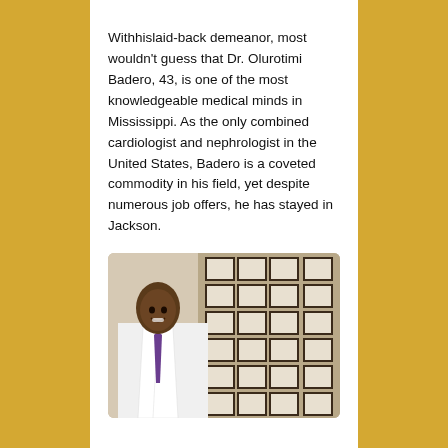Withhislaid-back demeanor, most wouldn't guess that Dr. Olurotimi Badero, 43, is one of the most knowledgeable medical minds in Mississippi. As the only combined cardiologist and nephrologist in the United States, Badero is a coveted commodity in his field, yet despite numerous job offers, he has stayed in Jackson.
[Figure (photo): Dr. Olurotimi Badero in a white coat with purple tie, smiling, standing in front of a wall of framed certificates and diplomas]